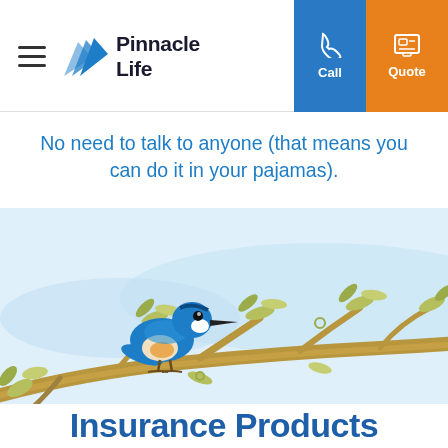Pinnacle Life — Call | Quote
No need to talk to anyone (that means you can do it in your pajamas).
[Figure (illustration): Illustrated kingfisher bird sitting on a leafy branch against a light blue background, with a Pinnacle Life branded illustration style.]
Insurance Products